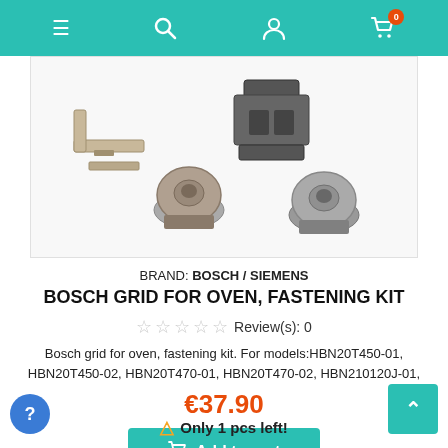Navigation bar with hamburger menu, search, account, and cart (0 items)
[Figure (photo): Product photo showing Bosch oven grid fastening kit components: metal brackets and round fasteners on white background]
BRAND: BOSCH / SIEMENS
BOSCH GRID FOR OVEN, FASTENING KIT
Review(s): 0
Bosch grid for oven, fastening kit. For models:HBN20T450-01, HBN20T450-02, HBN20T470-01, HBN20T470-02, HBN210120J-01,
€37.90
Add to cart
Only 1 pcs left!